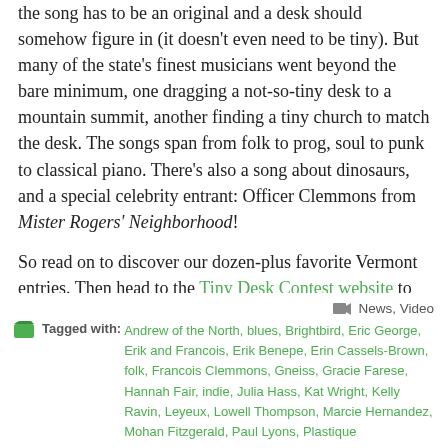the song has to be an original and a desk should somehow figure in (it doesn't even need to be tiny). But many of the state's finest musicians went beyond the bare minimum, one dragging a not-so-tiny desk to a mountain summit, another finding a tiny church to match the desk. The songs span from folk to prog, soul to punk to classical piano. There's also a song about dinosaurs, and a special celebrity entrant: Officer Clemmons from Mister Rogers' Neighborhood!
So read on to discover our dozen-plus favorite Vermont entries. Then head to the Tiny Desk Contest website to browse other entries from Vermont and beyond. Our favorite non-Vermont find: this bizarre David Lynch fever-dream masked performer.
Continue reading »
News, Video
Tagged with: Andrew of the North, blues, Brightbird, Eric George, Erik and Francois, Erik Benepe, Erin Cassels-Brown, folk, Francois Clemmons, Gneiss, Gracie Farese, Hannah Fair, indie, Julia Hass, Kat Wright, Kelly Ravin, Leyeux, Lowell Thompson, Marcie Hernandez, Mohan Fitzgerald, Paul Lyons, Plastique